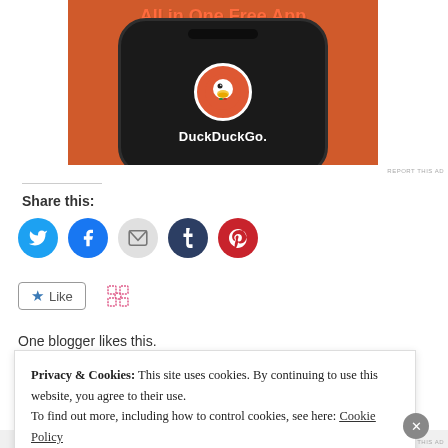[Figure (advertisement): DuckDuckGo 'All in One Free App' advertisement showing a phone with the DuckDuckGo logo on an orange background]
REPORT THIS AD
Share this:
[Figure (infographic): Social sharing buttons: Twitter (blue), Facebook (blue), Email (gray), Tumblr (dark blue), Pinterest (red)]
[Figure (infographic): Like button with star and Fediverse icon]
One blogger likes this.
Privacy & Cookies: This site uses cookies. By continuing to use this website, you agree to their use.
To find out more, including how to control cookies, see here: Cookie Policy
Close and accept
REPORT THIS AD